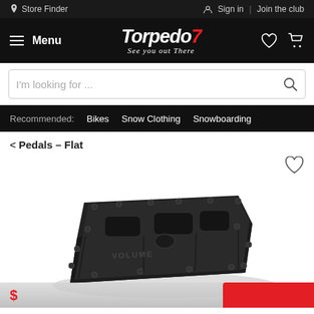Store Finder | Sign in | Join the club
Torpedo7 - See you out There - Menu
I'm looking for ...
Recommended:  Bikes  Snow Clothing  Snowboarding
< Pedals – Flat
[Figure (photo): Black flat bicycle pedal with metal pins viewed from a three-quarter angle, product photo on white background. At the bottom partial view of another product in red/white color.]